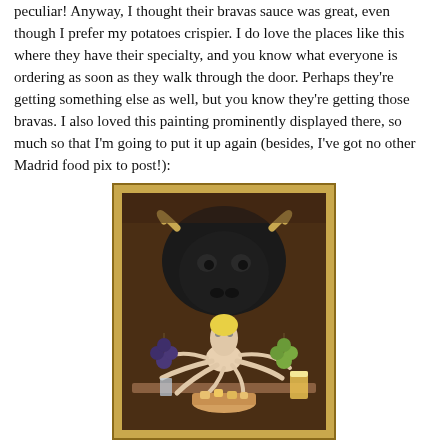peculiar! Anyway, I thought their bravas sauce was great, even though I prefer my potatoes crispier. I do love the places like this where they have their specialty, and you know what everyone is ordering as soon as they walk through the door. Perhaps they're getting something else as well, but you know they're getting those bravas. I also loved this painting prominently displayed there, so much so that I'm going to put it up again (besides, I've got no other Madrid food pix to post!):
[Figure (photo): A framed painting displayed on a wall. The painting has a gold/ornate frame and depicts a large dark bull head looming above, with an octopus below it on a table, surrounded by grapes, a glass of beer, and a bowl of what appears to be patatas bravas (fried potatoes).]